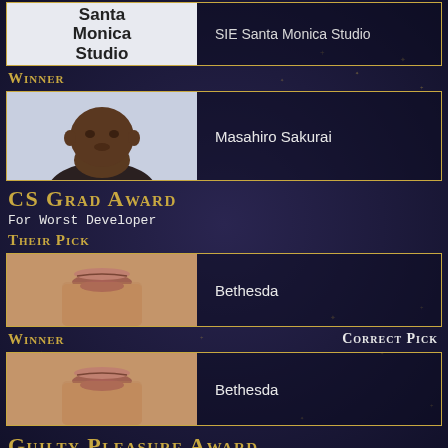[Figure (photo): Santa Monica Studio logo on light background, left panel of card; right panel dark with 'SIE Santa Monica Studio' text]
Winner
[Figure (photo): Photo of a large man (meme image) on light background left panel; right panel dark with 'Masahiro Sakurai' text]
CS Grad Award
For Worst Developer
Their Pick
[Figure (photo): Close-up photo of a man's face (lower half) on left panel; right panel dark with 'Bethesda' text]
Winner
Correct Pick
[Figure (photo): Close-up photo of a man's face (lower half) on left panel; right panel dark with 'Bethesda' text]
Guilty Pleasure Award